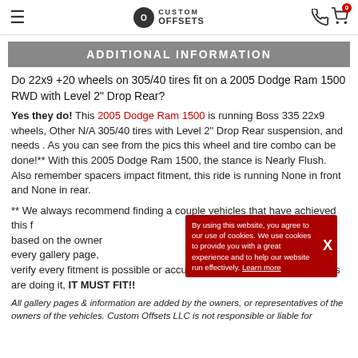Custom Offsets
ADDITIONAL INFORMATION
Do 22x9 +20 wheels on 305/40 tires fit on a 2005 Dodge Ram 1500 RWD with Level 2" Drop Rear?
Yes they do! This 2005 Dodge Ram 1500 is running Boss 335 22x9 wheels, Other N/A 305/40 tires with Level 2" Drop Rear suspension, and needs . As you can see from the pics this wheel and tire combo can be done!** With this 2005 Dodge Ram 1500, the stance is Nearly Flush. Also remember spacers impact fitment, this ride is running None in front and None in rear.
** We always recommend finding a couple vehicles that have achieved this fitment based on the owner, every gallery page, verify every fitment is possible or accurate. However, if all the other kids are doing it, IT MUST FIT!!
All gallery pages & information are added by the owners, or representatives of the owners of the vehicles. Custom Offsets LLC is not responsible or liable for